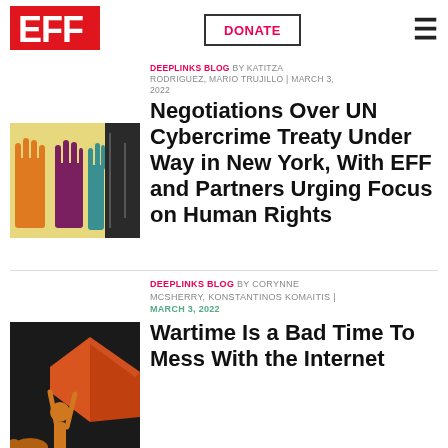[Figure (logo): EFF logo - red rectangular background with bold white EFF letters]
DONATE
≡
[Figure (illustration): Colorful illustration of stylized hands and circuits on yellow/dark background]
DEEPLINKS BLOG BY KATITZA RODRIGUEZ, MARIO TRUJILLO | MARCH 3, 2022
Negotiations Over UN Cybercrime Treaty Under Way in New York, With EFF and Partners Urging Focus on Human Rights
[Figure (illustration): Dark illustration of a person holding up a large megaphone]
DEEPLINKS BLOG BY CORYNNE MCSHERRY, KONSTANTINOS KOMAITIS | MARCH 3, 2022
Wartime Is a Bad Time To Mess With the Internet